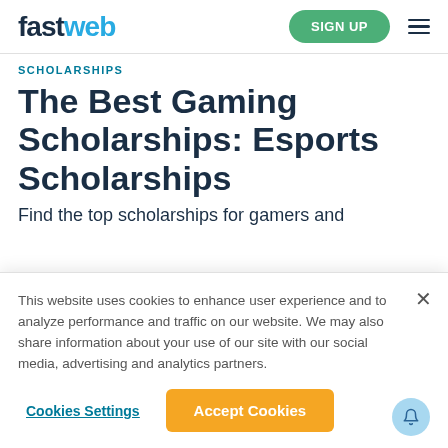fastweb — SIGN UP
SCHOLARSHIPS
The Best Gaming Scholarships: Esports Scholarships
Find the top scholarships for gamers and
This website uses cookies to enhance user experience and to analyze performance and traffic on our website. We may also share information about your use of our site with our social media, advertising and analytics partners.
Cookies Settings
Accept Cookies